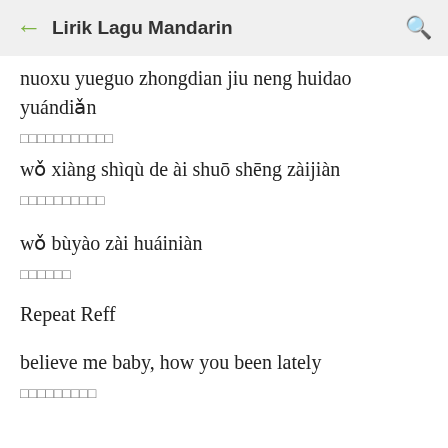← Lirik Lagu Mandarin 🔍
nuoxu yueguo zhongdian jiu neng huidao yuándian
□□□□□□□□□□□
wǒ xiàng shìqù de ài shuō shēng zàijiàn
□□□□□□□□□□
wǒ bùyào zài huáiniàn
□□□□□□
Repeat Reff
believe me baby, how you been lately
□□□□□□□□□